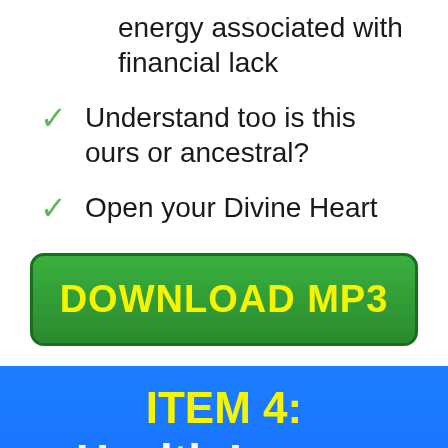energy associated with financial lack
Understand too is this ours or ancestral?
Open your Divine Heart
[Figure (other): Green rounded button with yellow bold text reading DOWNLOAD MP3]
ITEM 4:
Health Issues